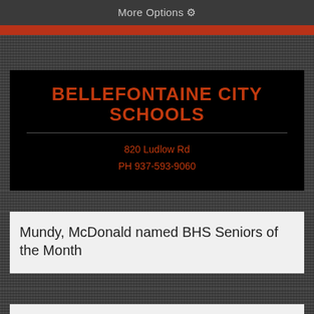More Options ⚙
BELLEFONTAINE CITY SCHOOLS
820 Ludlow Rd
PH 937-593-9060
Mundy, McDonald named BHS Seniors of the Month
Bellefontaine City Schools » District » District News » BHS